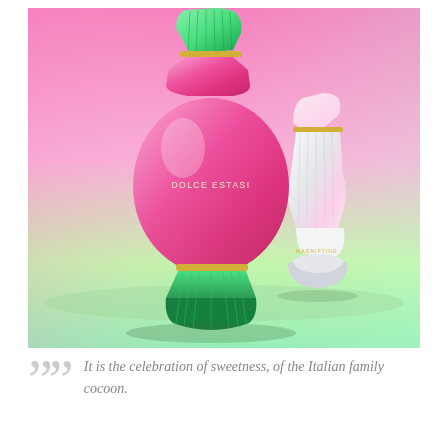[Figure (photo): Two perfume bottles against a pink-to-green gradient background. The foreground bottle is a round pink glass bottle labeled 'DOLCE ESTASI' with a ribbed green glass cap and green glass pedestal base. Behind it is a white ribbed bottle with a pink top labeled 'MAGNIFYING'.]
It is the celebration of sweetness, of the Italian family cocoon.